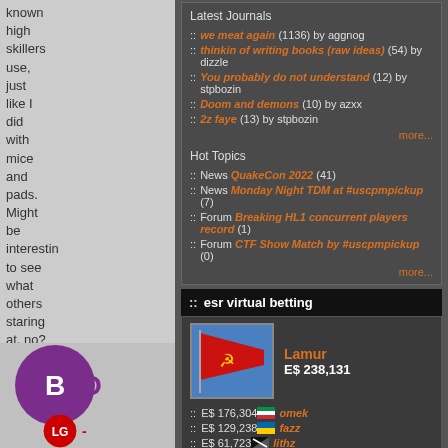known high skillers use, just like I did with mice and pads. Might be interesting to see what others staring at, no?
Latest Journals
:: we meat again (1136) by aggnog
:: thinkin of writing books (raw ideas) (54) by dizzle
:: You probably do not understand (12) by stpbozin
:: Doom and demons (10) by azxx
:: 2z faye (13) by stpbozin
more...
Hot Topics
:: News QuakeCon 2022 (41)
:: News Monday Night TDM at #uscpmpickup (7)
:: Forum Breaking HL1 concurrent players record (1)
:: Forum CTF Show Match by #uscpmpickup (0)
more...
:: esr virtual betting
Lamur E$ 238,131
:: E$ 176,304 omek
:: E$ 129,238 fazz
:: E$ 61,723 lithz
:: E$ 58,635 nsx0r
:: E$ 57,658 nk121
:: Betting Leaderboard
[Figure (photo): Red Soviet flag with hammer and sickle on blue sky background]
[Figure (logo): Partial logos visible - appears to be BT and LG logos]